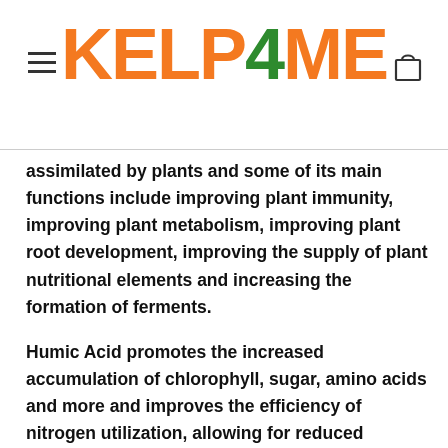[Figure (logo): KELP4ME logo in orange and green, with hamburger menu icon on left and cart icon on right]
assimilated by plants and some of its main functions include improving plant immunity, improving plant metabolism, improving plant root development, improving the supply of plant nutritional elements and increasing the formation of ferments.
Humic Acid promotes the increased accumulation of chlorophyll, sugar, amino acids and more and improves the efficiency of nitrogen utilization, allowing for reduced fertilizer rates. One of the primary actions of Humic Acid is to increase the plant's ability to withstand the stresses of heat, drought, cold, disease, insect and other types of environmental or cultural pressures. Humic also